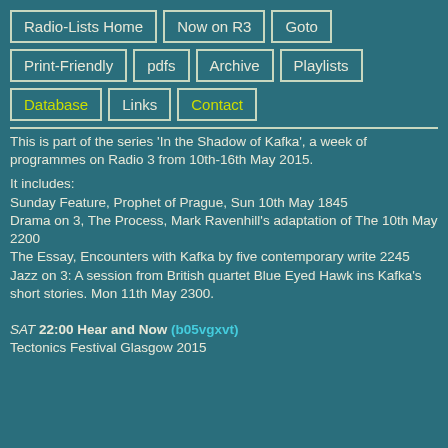Radio-Lists Home | Now on R3 | Goto | Print-Friendly | pdfs | Archive | Playlists | Database | Links | Contact
This is part of the series 'In the Shadow of Kafka', a week of programmes on Radio 3 from 10th-16th May 2015.

It includes:
Sunday Feature, Prophet of Prague, Sun 10th May 1845
Drama on 3, The Process, Mark Ravenhill's adaptation of The 10th May 2200
The Essay, Encounters with Kafka by five contemporary write 2245
Jazz on 3: A session from British quartet Blue Eyed Hawk ins Kafka's short stories. Mon 11th May 2300.
SAT 22:00 Hear and Now (b05vgxvt)
Tectonics Festival Glasgow 2015